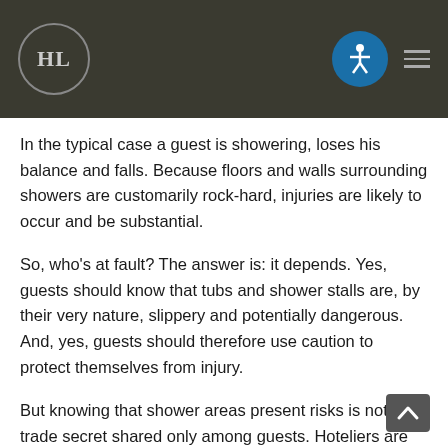HL logo and accessibility navigation header
In the typical case a guest is showering, loses his balance and falls. Because floors and walls surrounding showers are customarily rock-hard, injuries are likely to occur and be substantial.
So, who's at fault? The answer is: it depends. Yes, guests should know that tubs and shower stalls are, by their very nature, slippery and potentially dangerous. And, yes, guests should therefore use caution to protect themselves from injury.
But knowing that shower areas present risks is not a trade secret shared only among guests. Hoteliers are also in the know. That fact imposes on inns a duty to take reasonable steps to prevent foreseeable bathroom mishaps. Those